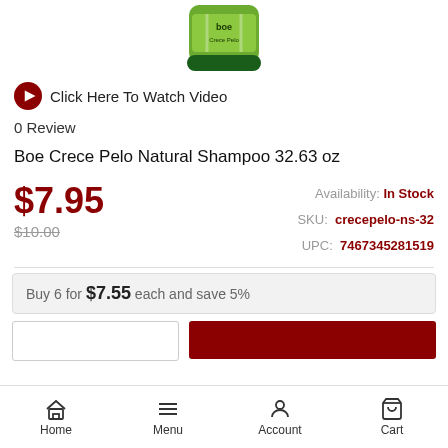[Figure (photo): Product image of Boe Crece Pelo Natural Shampoo bottle, green with dark green cap, partially cropped at top]
Click Here To Watch Video
0 Review
Boe Crece Pelo Natural Shampoo 32.63 oz
$7.95
$10.00
Availability: In Stock
SKU: crecepelo-ns-32
UPC: 7467345281519
Buy 6 for $7.55 each and save 5%
Home  Menu  Account  Cart